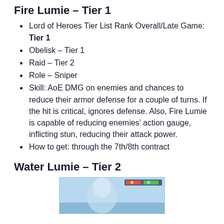Fire Lumie – Tier 1
Lord of Heroes Tier List Rank Overall/Late Game: Tier 1
Obelisk – Tier 1
Raid – Tier 2
Role – Sniper
Skill: AoE DMG on enemies and chances to reduce their armor defense for a couple of turns. If the hit is critical, ignores defense. Also, Fire Lumie is capable of reducing enemies' action gauge, inflicting stun, reducing their attack power.
How to get: through the 7th/8th contract
Water Lumie – Tier 2
[Figure (screenshot): Screenshot of Water Lumie character in game]